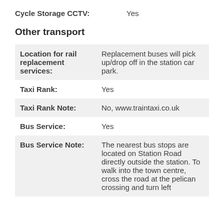Cycle Storage CCTV: Yes
Other transport
| Location for rail replacement services: | Replacement buses will pick up/drop off in the station car park. |
| Taxi Rank: | Yes |
| Taxi Rank Note: | No, www.traintaxi.co.uk |
| Bus Service: | Yes |
| Bus Service Note: | The nearest bus stops are located on Station Road directly outside the station. To walk into the town centre, cross the road at the pelican crossing and turn left |